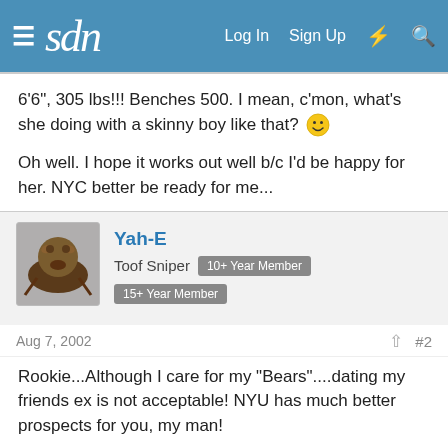sdn — Log In  Sign Up
6'6", 305 lbs!!! Benches 500. I mean, c'mon, what's she doing with a skinny boy like that? 😆
Oh well. I hope it works out well b/c I'd be happy for her. NYC better be ready for me...
Yah-E
Toof Sniper  10+ Year Member  15+ Year Member
Aug 7, 2002  #2
Rookie...Although I care for my "Bears"....dating my friends ex is not acceptable! NYU has much better prospects for you, my man!
Four more days until Orientation for me....I've been busy moving, driving (from MI to FL), getting drunk with my new classmates, and get everything set up! South Florida is